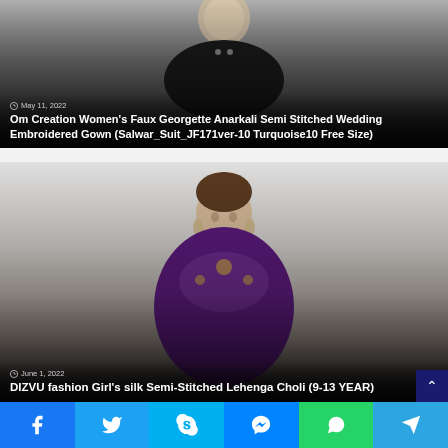[Figure (photo): Card showing a woman in dark embroidered attire with gradient overlay. Date: May 11, 2022. Title: Om Creation Women's Faux Georgette Anarkali Semi Stitched Wedding Embroidered Gown (Salwar_Suit_JF171ver-10 Turquoise10 Free Size)]
[Figure (photo): Card showing a young girl in purple and gold Lehenga Choli with gradient overlay. Date: June 1, 2022. Title: DIZVU fashion Girl's silk Semi-Stitched Lehenga Choli (9-13 YEAR)]
[Figure (infographic): Social share footer bar with Facebook, Twitter, Skype, Messenger, WhatsApp, and Telegram icons]